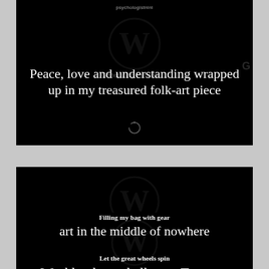[Figure (screenshot): Black card with white text: 'Peace, love and understanding wrapped up in my treasured folk-art piece' with WordPress watermark and Generating Preview overlay]
[Figure (screenshot): Black card with white bold text 'Filling my bag with gear' and larger text 'art in the middle of nowhere' with WordPress watermark and Generating Preview overlay]
[Figure (screenshot): Black card (partially visible) with white bold text 'Let the great wheels spin' and partially visible text 'Weekly photo challenge: Treasure' with WordPress watermark]